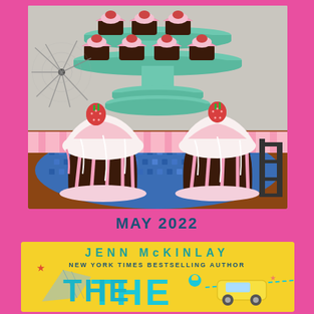[Figure (illustration): Book cover illustration showing strawberry cupcakes on a tiered mint green cake stand on a mosaic-tiled tabletop, with a bullet hole in the background window glass. Two large chocolate cupcakes with pink and white frosting and fresh strawberries are in the foreground.]
MAY 2022
[Figure (illustration): Partial book cover on yellow background showing author name JENN McKINLAY, subtitle NEW YORK TIMES BESTSELLING AUTHOR, and partial title THE with teal lettering, plus partial illustration of a car and map elements.]